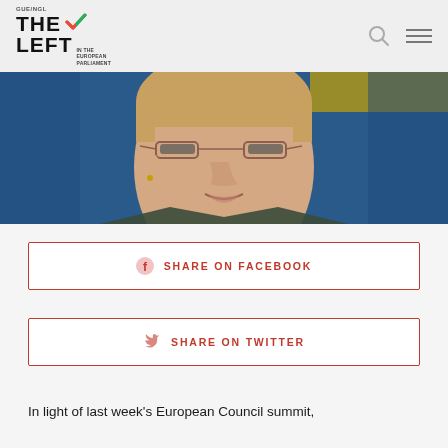GUE/NGL THE LEFT IN THE EUROPEAN PARLIAMENT
[Figure (photo): Close-up photo of a woman with glasses and short blonde hair speaking at a podium, blue background]
SHARE ON FACEBOOK
SHARE ON TWITTER
In light of last week's European Council summit,